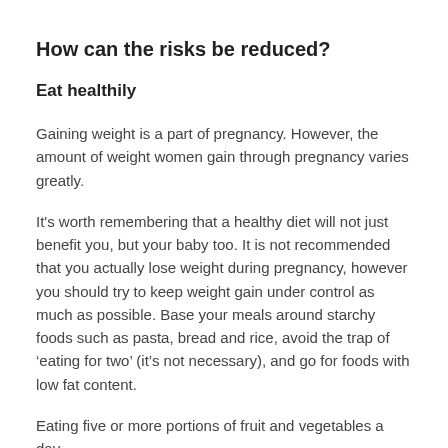How can the risks be reduced?
Eat healthily
Gaining weight is a part of pregnancy. However, the amount of weight women gain through pregnancy varies greatly.
It's worth remembering that a healthy diet will not just benefit you, but your baby too. It is not recommended that you actually lose weight during pregnancy, however you should try to keep weight gain under control as much as possible. Base your meals around starchy foods such as pasta, bread and rice, avoid the trap of ‘eating for two’ (it’s not necessary), and go for foods with low fat content.
Eating five or more portions of fruit and vegetables a day